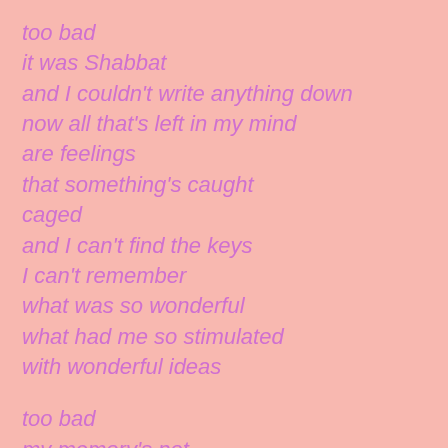too bad
it was Shabbat
and I couldn't write anything down
now all that's left in my mind
are feelings
that something's caught
caged
and I can't find the keys
I can't remember
what was so wonderful
what had me so stimulated
with wonderful ideas

too bad
my memory's not
what it once was